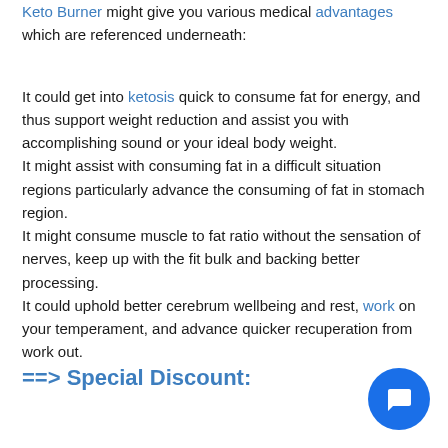Keto Burner might give you various medical advantages which are referenced underneath:
It could get into ketosis quick to consume fat for energy, and thus support weight reduction and assist you with accomplishing sound or your ideal body weight.
It might assist with consuming fat in a difficult situation regions particularly advance the consuming of fat in stomach region.
It might consume muscle to fat ratio without the sensation of nerves, keep up with the fit bulk and backing better processing.
It could uphold better cerebrum wellbeing and rest, work on your temperament, and advance quicker recuperation from work out.
==> Special Discount: